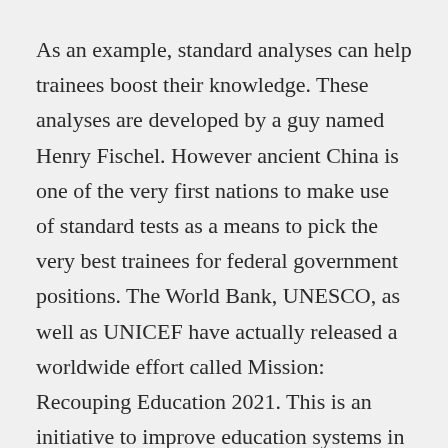As an example, standard analyses can help trainees boost their knowledge. These analyses are developed by a guy named Henry Fischel. However ancient China is one of the very first nations to make use of standard tests as a means to pick the very best trainees for federal government positions. The World Bank, UNESCO, as well as UNICEF have actually released a worldwide effort called Mission: Recouping Education 2021. This is an initiative to improve education systems in bad countries.
In addition to standard tests, official education and learning includes nonformal discovering. Nonformal